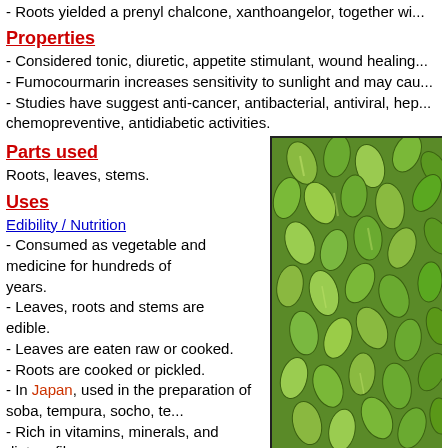- Roots yielded a prenyl chalcone, xanthoangelor, together wi...
Properties
- Considered tonic, diuretic, appetite stimulant, wound healing...
- Fumocourmarin increases sensitivity to sunlight and may cau...
- Studies have suggest anti-cancer, antibacterial, antiviral, hep... chemopreventive, antidiabetic activities.
Parts used
Roots, leaves, stems.
Uses
Edibility / Nutrition
- Consumed as vegetable and medicine for hundreds of years.
- Leaves, roots and stems are edible.
- Leaves are eaten raw or cooked.
- Roots are cooked or pickled.
- In Japan, used in the preparation of soba, tempura, socho, te...
- Rich in vitamins, minerals, and dietary fiber.
[Figure (photo): Close-up photo of green seeds or plant parts, oval/elongated green seeds clustered together]
Folkloric
- In Japan, the yellow sap from stems and stalks once used fo...
- Roots traditionally used as diuretic, laxative, analeptic, and o...